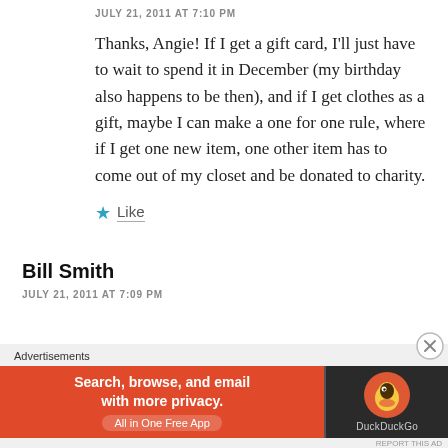JULY 21, 2011 AT 7:10 PM
Thanks, Angie! If I get a gift card, I'll just have to wait to spend it in December (my birthday also happens to be then), and if I get clothes as a gift, maybe I can make a one for one rule, where if I get one new item, one other item has to come out of my closet and be donated to charity.
★ Like
Bill Smith
JULY 21, 2011 AT 7:09 PM
[Figure (infographic): DuckDuckGo advertisement banner: 'Search, browse, and email with more privacy. All in One Free App' with DuckDuckGo logo on dark background]